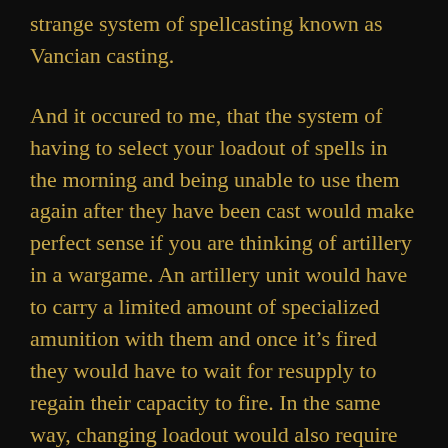strange system of spellcasting known as Vancian casting.
And it occured to me, that the system of having to select your loadout of spells in the morning and being unable to use them again after they have been cast would make perfect sense if you are thinking of artillery in a wargame. An artillery unit would have to carry a limited amount of specialized amunition with them and once it's fired they would have to wait for resupply to regain their capacity to fire. In the same way, changing loadout would also require waiting for resupply or returning to base. Not being familiar with the very old editions of D&D, I read something about PCs aaprently